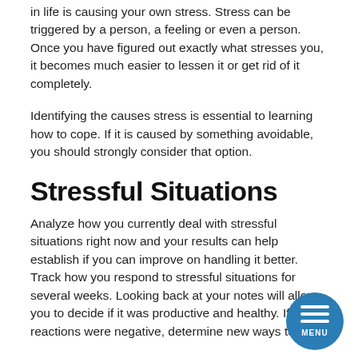in life is causing your own stress. Stress can be triggered by a person, a feeling or even a person. Once you have figured out exactly what stresses you, it becomes much easier to lessen it or get rid of it completely.
Identifying the causes stress is essential to learning how to cope. If it is caused by something avoidable, you should strongly consider that option.
Stressful Situations
Analyze how you currently deal with stressful situations right now and your results can help establish if you can improve on handling it better. Track how you respond to stressful situations for several weeks. Looking back at your notes will allow you to decide if it was productive and healthy. If your reactions were negative, determine new ways to cope